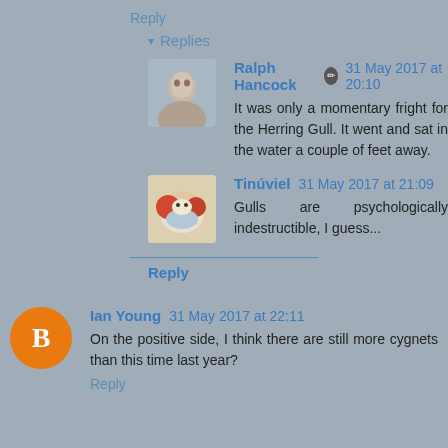Reply
▾ Replies
Ralph Hancock  31 May 2017 at 20:10
It was only a momentary fright for the Herring Gull. It went and sat in the water a couple of feet away.
Tinúviel  31 May 2017 at 21:09
Gulls are psychologically indestructible, I guess...
Reply
Ian Young  31 May 2017 at 22:11
On the positive side, I think there are still more cygnets than this time last year?
Reply